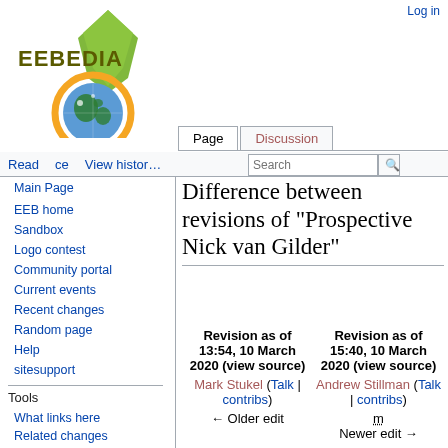Log in
[Figure (logo): EEBEDIA wiki logo with globe and green leaf/medal design]
Page | Discussion | Read | View history | Search
Difference between revisions of "Prospective Nick van Gilder"
Main Page
EEB home
Sandbox
Logo contest
Community portal
Current events
Recent changes
Random page
Help
sitesupport
Tools
What links here
Related changes
| Revision as of 13:54, 10 March 2020 (view source) | Revision as of 15:40, 10 March 2020 (view source) |
| --- | --- |
| Mark Stukel (Talk | contribs) | Andrew Stillman (Talk | contribs) |
| ← Older edit | m
Newer edit → |